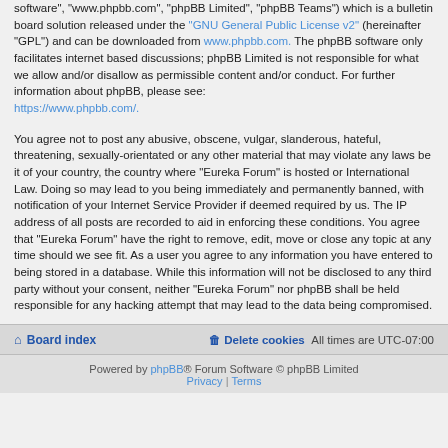software", "www.phpbb.com", "phpBB Limited", "phpBB Teams") which is a bulletin board solution released under the "GNU General Public License v2" (hereinafter "GPL") and can be downloaded from www.phpbb.com. The phpBB software only facilitates internet based discussions; phpBB Limited is not responsible for what we allow and/or disallow as permissible content and/or conduct. For further information about phpBB, please see: https://www.phpbb.com/.
You agree not to post any abusive, obscene, vulgar, slanderous, hateful, threatening, sexually-orientated or any other material that may violate any laws be it of your country, the country where “Eureka Forum” is hosted or International Law. Doing so may lead to you being immediately and permanently banned, with notification of your Internet Service Provider if deemed required by us. The IP address of all posts are recorded to aid in enforcing these conditions. You agree that “Eureka Forum” have the right to remove, edit, move or close any topic at any time should we see fit. As a user you agree to any information you have entered to being stored in a database. While this information will not be disclosed to any third party without your consent, neither “Eureka Forum” nor phpBB shall be held responsible for any hacking attempt that may lead to the data being compromised.
Board index | Delete cookies | All times are UTC-07:00
Powered by phpBB® Forum Software © phpBB Limited | Privacy | Terms